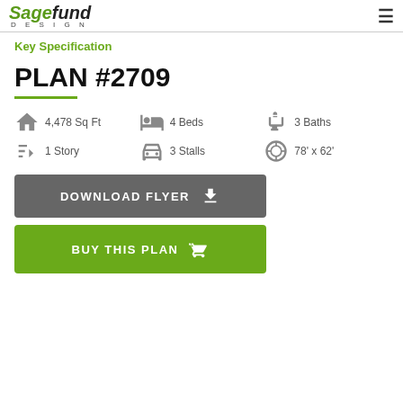SageFund Design
Key Specification
PLAN #2709
4,478 Sq Ft
4 Beds
3 Baths
1 Story
3 Stalls
78' x 62'
DOWNLOAD FLYER
BUY THIS PLAN